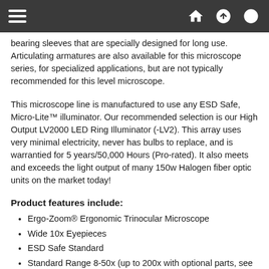Navigation bar with hamburger menu and home/up/login icons
bearing sleeves that are specially designed for long use. Articulating armatures are also available for this microscope series, for specialized applications, but are not typically recommended for this level microscope.
This microscope line is manufactured to use any ESD Safe, Micro-Lite™ illuminator. Our recommended selection is our High Output LV2000 LED Ring Illuminator (-LV2). This array uses very minimal electricity, never has bulbs to replace, and is warrantied for 5 years/50,000 Hours (Pro-rated). It also meets and exceeds the light output of many 150w Halogen fiber optic units on the market today!
Product features include:
Ergo-Zoom® Ergonomic Trinocular Microscope
Wide 10x Eyepieces
ESD Safe Standard
Standard Range 8-50x (up to 200x with optional parts, see the magnification chart below)